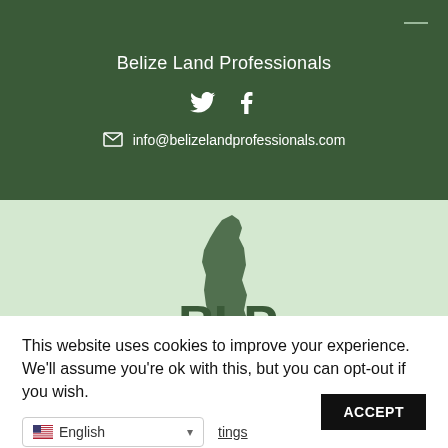Belize Land Professionals
[Figure (other): Social media icons: Twitter bird icon and Facebook 'f' icon]
info@belizelandprofessionals.com
[Figure (logo): BLP (Belize Land Professionals) logo with map silhouette of Belize in green and BLP letters]
This website uses cookies to improve your experience. We'll assume you're ok with this, but you can opt-out if you wish.
Cookie settings  ACCEPT